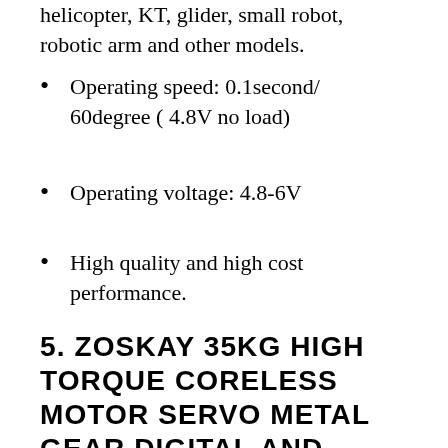helicopter, KT, glider, small robot, robotic arm and other models.
Operating speed: 0.1second/ 60degree ( 4.8V no load)
Operating voltage: 4.8-6V
High quality and high cost performance.
5. ZOSKAY 35KG HIGH TORQUE CORELESS MOTOR SERVO METAL GEAR DIGITAL AND STAINLESS STEEL GEAR SERVO ARDUINO SERVO FOR ROBOTIC DIY,RC CAR